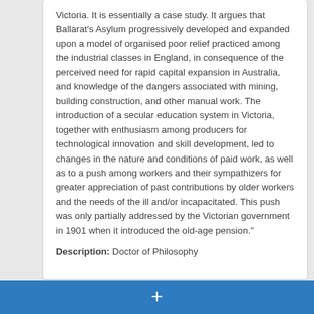Victoria. It is essentially a case study. It argues that Ballarat's Asylum progressively developed and expanded upon a model of organised poor relief practiced among the industrial classes in England, in consequence of the perceived need for rapid capital expansion in Australia, and knowledge of the dangers associated with mining, building construction, and other manual work. The introduction of a secular education system in Victoria, together with enthusiasm among producers for technological innovation and skill development, led to changes in the nature and conditions of paid work, as well as to a push among workers and their sympathizers for greater appreciation of past contributions by older workers and the needs of the ill and/or incapacitated. This push was only partially addressed by the Victorian government in 1901 when it introduced the old-age pension."
Description: Doctor of Philosophy